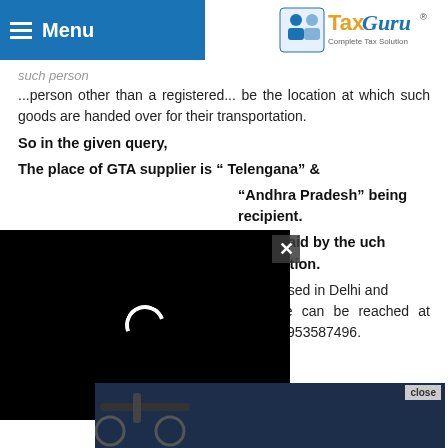Menu | TaxGuru - Complete Tax Solution
such person
...person other than a registered... be the location at which such goods are handed over for their transportation.
So in the given query,
The place of GTA supplier is “ Telengana”  &
...Andhra Pradesh” being recipient.
...all be paid by the ...uch transaction.
...g CA based in Delhi and is registered Insolvency Professional. He can be reached at cavinodchaurasia@gmail.com , Mob. +91 9953587496.
Dis... are ...
[Figure (screenshot): Black video player overlay with loading spinner and close button]
[Figure (screenshot): Advertisement banner: Download Helbiz and ride, with close button]